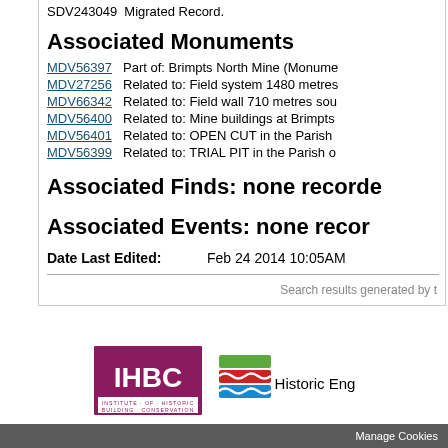SDV243049  Migrated Record.
Associated Monuments
MDV56397   Part of: Brimpts North Mine (Monume...
MDV27256   Related to: Field system 1480 metres...
MDV66342   Related to: Field wall 710 metres sou...
MDV56400   Related to: Mine buildings at Brimpts...
MDV56401   Related to: OPEN CUT in the Parish...
MDV56399   Related to: TRIAL PIT in the Parish o...
Associated Finds: none recorded
Associated Events: none recorde...
Date Last Edited:    Feb 24 2014 10:05AM
Search results generated by t...
[Figure (logo): IHBC - Institute of Historic Building Conservation logo]
[Figure (logo): Historic England logo with coloured wave stripes]
heritage gateway pa...
Manage Cookies